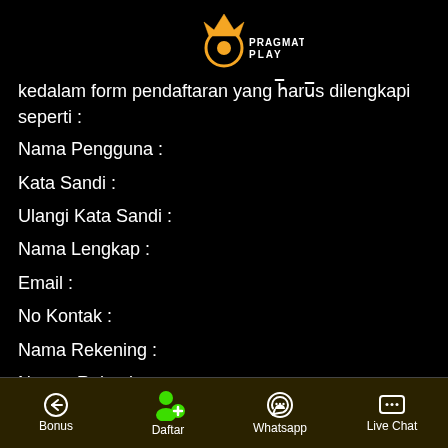[Figure (logo): Pragmatic Play logo — orange crown above an orange circle with a ball inside, text PRAGMATIC PLAY in white]
kedalam form pendaftaran yang harus dilengkapi seperti :
Nama Pengguna :
Kata Sandi :
Ulangi Kata Sandi :
Nama Lengkap :
Email :
No Kontak :
Nama Rekening :
Nomor Rekening :
Bonus  Daftar  Whatsapp  Live Chat